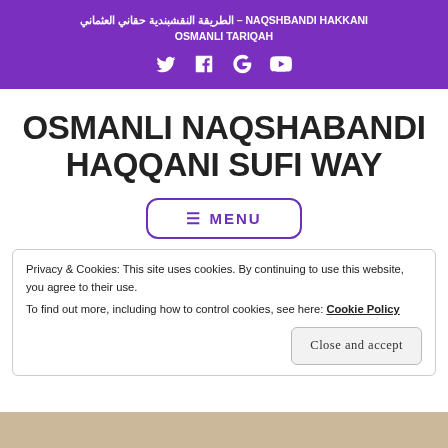الطريقة النقشبندية حقاني العثماني – NAQSHBANDI HAKKANI OSMANLI TARIQAH
OSMANLI NAQSHABANDI HAQQANI SUFI WAY
≡ MENU
Privacy & Cookies: This site uses cookies. By continuing to use this website, you agree to their use.
To find out more, including how to control cookies, see here: Cookie Policy
Close and accept